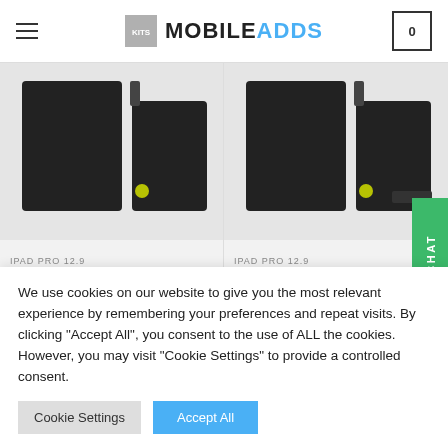MOBILEADDS
[Figure (photo): iPad Pro 12.9 2gen Battery product photo showing black battery pack]
IPAD PRO 12.9
iPad Pro 12,9 2gen Battery – OEM Quality
[Figure (photo): iPad Pro 12.9 3rd gen Battery product photo showing black battery pack]
IPAD PRO 12.9
iPad Pro 12.9 3rd gen Battery – OEM Quality
We use cookies on our website to give you the most relevant experience by remembering your preferences and repeat visits. By clicking "Accept All", you consent to the use of ALL the cookies. However, you may visit "Cookie Settings" to provide a controlled consent.